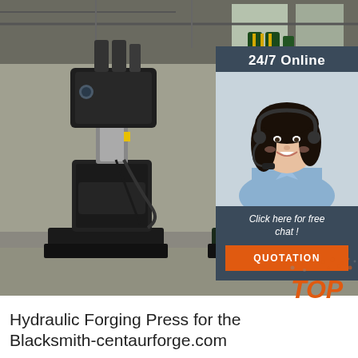[Figure (photo): Two hydraulic forging press machines in an industrial workshop — one black (left) and one green (right) — standing on heavy base plates inside a metal-roofed facility.]
24/7 Online
[Figure (photo): Customer service agent — a smiling woman with dark hair wearing a headset — representing 24/7 online chat support.]
Click here for free chat !
QUOTATION
[Figure (other): Orange and grey dot-speckle decoration with bold italic orange 'TOP' text — a decorative badge in the bottom-right corner.]
Hydraulic Forging Press for the Blacksmith-centaurforge.com